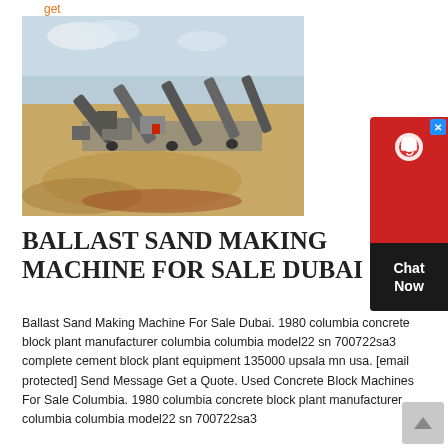get price
[Figure (photo): Outdoor quarry or sand processing facility with large conveyor belts and machinery on a sandy terrain under a partly cloudy sky.]
BALLAST SAND MAKING MACHINE FOR SALE DUBAI
Ballast Sand Making Machine For Sale Dubai. 1980 columbia concrete block plant manufacturer columbia columbia model22 sn 700722sa3 complete cement block plant equipment 135000 upsala mn usa. [email protected] Send Message Get a Quote. Used Concrete Block Machines For Sale Columbia. 1980 columbia concrete block plant manufacturer columbia columbia model22 sn 700722sa3